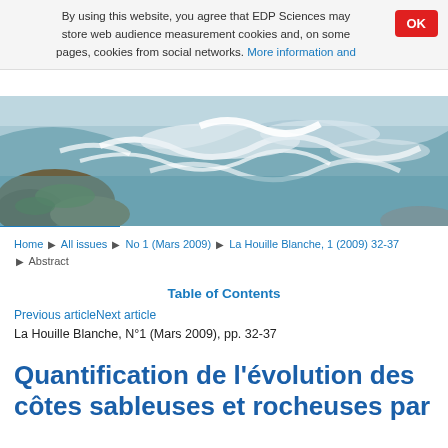By using this website, you agree that EDP Sciences may store web audience measurement cookies and, on some pages, cookies from social networks. More information and
[Figure (photo): Photograph of rushing river water over rocks with white rapids and green mossy stones in foreground]
Home ▶ All issues ▶ No 1 (Mars 2009) ▶ La Houille Blanche, 1 (2009) 32-37 ▶ Abstract
Table of Contents
Previous articleNext article
La Houille Blanche, N°1 (Mars 2009), pp. 32-37
Quantification de l'évolution des côtes sableuses et rocheuses par